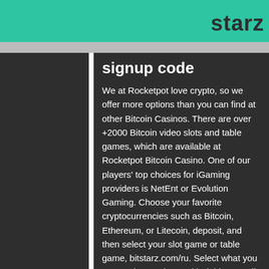starz
signup code
We at Rocketpot love crypto, so we offer more options than you can find at other Bitcoin Casinos. There are over +2000 Bitcoin video slots and table games, which are available at Rocketpot Bitcoin Casino. One of our players' top choices for iGaming providers is NetEnt or Evolution Gaming. Choose your favorite cryptocurrencies such as Bitcoin, Ethereum, or Litecoin, deposit, and then select your slot game or table game, bitstarz.com/ru. Select what you want to buy and pay with debit or credit cards, Apple Pay, or a bank transfer, bitstarz.com/ru. It currently stands at around $4,000, websites like bitstarz.com. 19 августа 2018 года я познакомился с онлайн заведением bitstarz,. Реальные